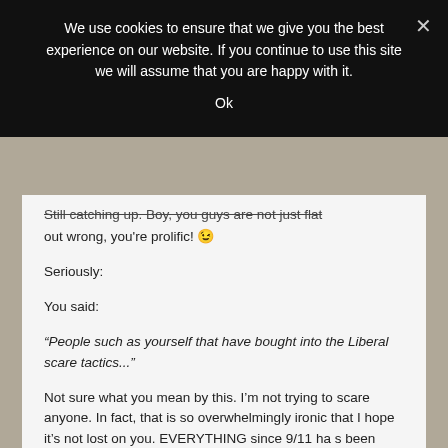We use cookies to ensure that we give you the best experience on our website. If you continue to use this site we will assume that you are happy with it.
Ok
Still catching up. Boy, you guys are not just flat out wrong, you're prolific! 😉
Seriously:
You said:
“People such as yourself that have bought into the Liberal scare tactics...”
Not sure what you mean by this. I’m not trying to scare anyone. In fact, that is so overwhelmingly ironic that I hope it’s not lost on you. EVERYTHING since 9/11 ha s been justified by this admin with “the enemy wants to kill us”. Good grief. We